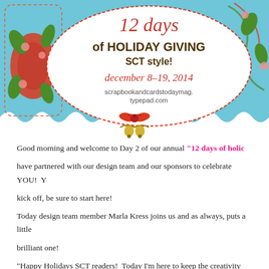[Figure (illustration): Decorative holiday banner with blue floral/swirl background, red bow, and oval speech bubble containing text: '12 days of HOLIDAY GIVING SCT style! december 8-19, 2014 scrapbookandcardstodaymag.typepad.com'. Dashed border frame on left side.]
Good morning and welcome to Day 2 of our annual "12 days of holiday giving SCT style!" We have partnered with our design team and our sponsors to celebrate YOU! You missed Day 1's kick off, be sure to start here!
Today design team member Marla Kress joins us and as always, puts a little twist on things! A brilliant one!
"Happy Holidays SCT readers! Today I'm here to keep the creativity going w... wrapping gifts isn't the most exciting task. But if you look at a gift like a scra...